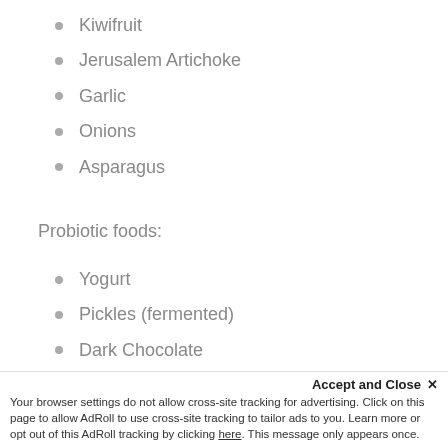Kiwifruit
Jerusalem Artichoke
Garlic
Onions
Asparagus
Probiotic foods:
Yogurt
Pickles (fermented)
Dark Chocolate
Miso
Kombucha
Accept and Close ✕
Your browser settings do not allow cross-site tracking for advertising. Click on this page to allow AdRoll to use cross-site tracking to tailor ads to you. Learn more or opt out of this AdRoll tracking by clicking here. This message only appears once.